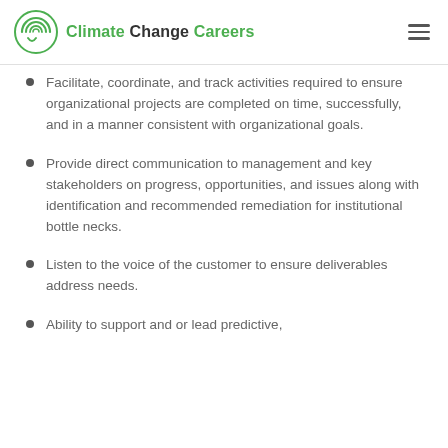Climate Change Careers
Facilitate, coordinate, and track activities required to ensure organizational projects are completed on time, successfully, and in a manner consistent with organizational goals.
Provide direct communication to management and key stakeholders on progress, opportunities, and issues along with identification and recommended remediation for institutional bottle necks.
Listen to the voice of the customer to ensure deliverables address needs.
Ability to support and or lead predictive,